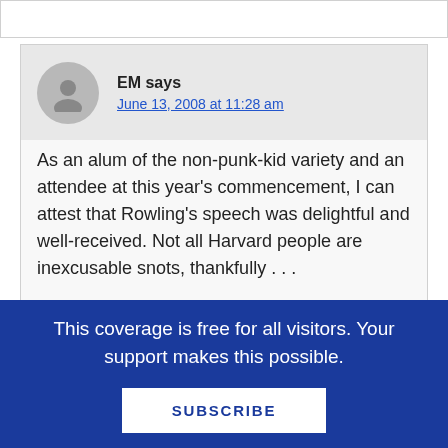EM says
June 13, 2008 at 11:28 am
As an alum of the non-punk-kid variety and an attendee at this year’s commencement, I can attest that Rowling’s speech was delightful and well-received. Not all Harvard people are inexcusable snots, thankfully . . .
This coverage is free for all visitors. Your support makes this possible.
SUBSCRIBE